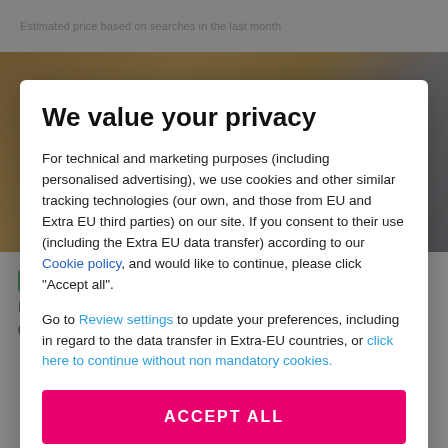Estimated price based on searches in the last month
[Figure (photo): Background hotel photo with warm amber/dark tones]
We value your privacy
For technical and marketing purposes (including personalised advertising), we use cookies and other similar tracking technologies (our own, and those from EU and Extra EU third parties) on our site. If you consent to their use (including the Extra EU data transfer) according to our Cookie policy, and would like to continue, please click "Accept all".
Go to Review settings to update your preferences, including in regard to the data transfer in Extra-EU countries, or click here to continue without non mandatory cookies.
ACCEPT ALL
by TrustYou™
Rua de São Tomé 23
0.8 Miles from the centre